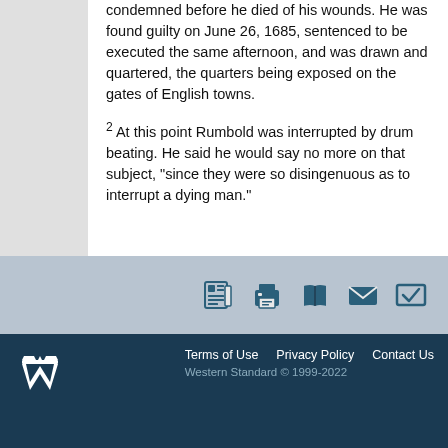condemned before he died of his wounds. He was found guilty on June 26, 1685, sentenced to be executed the same afternoon, and was drawn and quartered, the quarters being exposed on the gates of English towns.
2 At this point Rumbold was interrupted by drum beating. He said he would say no more on that subject, "since they were so disingenuous as to interrupt a dying man."
[Figure (other): Toolbar with five icons: newspaper/document, printer, book, envelope/mail, and checkmark/verify]
[Figure (logo): Western Standard logo — stylized W with crown/shield emblem in white on dark navy background]
Terms of Use   Privacy Policy   Contact Us
Western Standard © 1999-2022